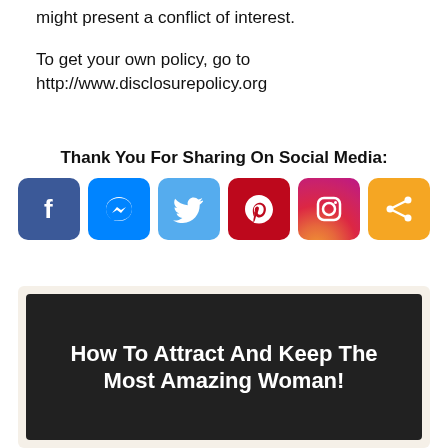might present a conflict of interest.
To get your own policy, go to http://www.disclosurepolicy.org
Thank You For Sharing On Social Media:
[Figure (infographic): Six social media share buttons: Facebook, Facebook Messenger, Twitter, Pinterest, Instagram, and a generic share button]
[Figure (infographic): Promotional banner with dark background reading 'How To Attract And Keep The Most Amazing Woman!']